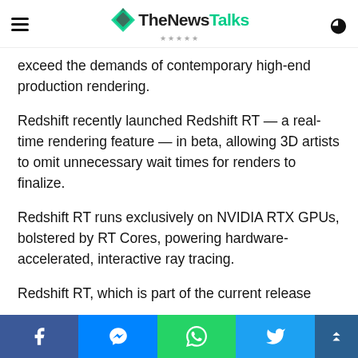TheNewsTalks
exceed the demands of contemporary high-end production rendering.
Redshift recently launched Redshift RT — a real-time rendering feature — in beta, allowing 3D artists to omit unnecessary wait times for renders to finalize.
Redshift RT runs exclusively on NVIDIA RTX GPUs, bolstered by RT Cores, powering hardware-accelerated, interactive ray tracing.
Redshift RT, which is part of the current release
Social share bar: Facebook, Messenger, WhatsApp, Twitter